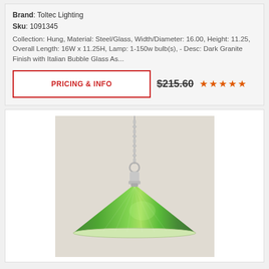Brand: Toltec Lighting
Sku: 1091345
Collection: Hung, Material: Steel/Glass, Width/Diameter: 16.00, Height: 11.25, Overall Length: 16W x 11.25H, Lamp: 1-150w bulb(s), - Desc: Dark Granite Finish with Italian Bubble Glass As...
PRICING & INFO
$215.60
[Figure (photo): Pendant light fixture with chrome chain, chrome connector, and a wide conical green glass shade, shown hanging against a beige background.]